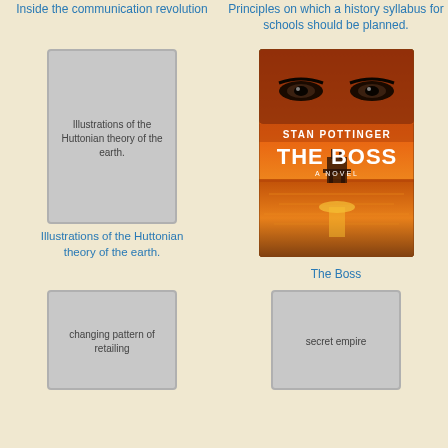Inside the communication revolution
Principles on which a history syllabus for schools should be planned.
[Figure (illustration): Gray placeholder book cover with text: Illustrations of the Huttonian theory of the earth.]
[Figure (photo): Book cover of 'The Boss' by Stan Pottinger — orange/red sunset with woman's eyes and oil rig silhouette.]
Illustrations of the Huttonian theory of the earth.
The Boss
[Figure (illustration): Gray placeholder book cover with text: changing pattern of retailing]
[Figure (illustration): Gray placeholder book cover with text: secret empire]